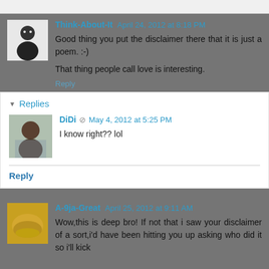Think-About-It April 24, 2012 at 8:18 PM
Good thing you put the disclaimer there that it is just a poem. :-)
That thing people call love is interesting.
Reply
Replies
DiDi May 4, 2012 at 5:25 PM
I know right?? lol
Reply
A-9ja-Great April 25, 2012 at 9:11 AM
Wow,this is deep bro! If not that i saw your disclaimer of a sort,i'd have been hitting you up asking who did it so i'll kick